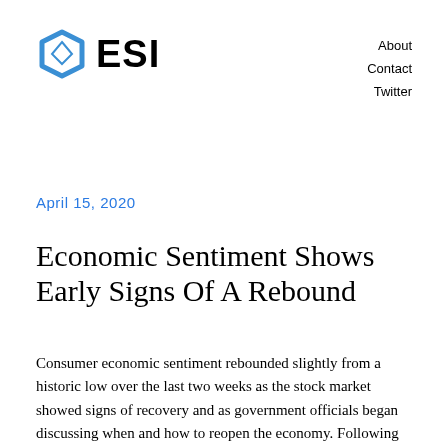[Figure (logo): ESI logo with blue hexagon diamond shape and bold black ESI text]
About
Contact
Twitter
April 15, 2020
Economic Sentiment Shows Early Signs Of A Rebound
Consumer economic sentiment rebounded slightly from a historic low over the last two weeks as the stock market showed signs of recovery and as government officials began discussing when and how to reopen the economy. Following the last